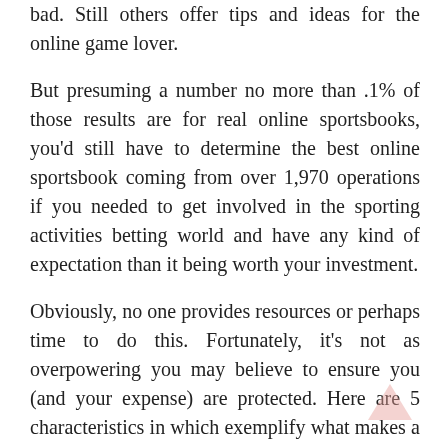bad. Still others offer tips and ideas for the online game lover.
But presuming a number no more than .1% of those results are for real online sportsbooks, you'd still have to determine the best online sportsbook coming from over 1,970 operations if you needed to get involved in the sporting activities betting world and have any kind of expectation than it being worth your investment.
Obviously, no one provides resources or perhaps time to do this. Fortunately, it's not as overpowering you may believe to ensure you (and your expense) are protected. Here are 5 characteristics in which exemplify what makes a great sportsbook on the planet of online game playing:
1. Benefit Codes: Ever heard of the One hundred sportsbook deposit reward? What the 100 sportsbook deposit reward is, is an incentive that numerous reputable online situs judi togel online terpercaya offer